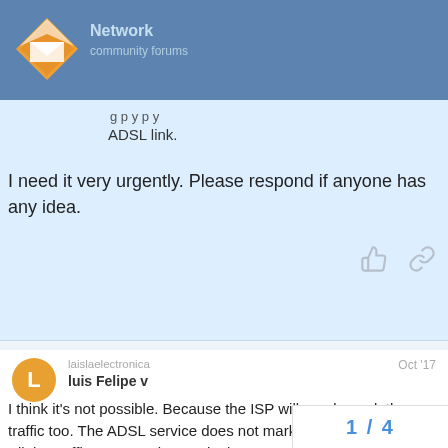Network/forum header navigation bar
ADSL link.
I need it very urgently. Please respond if anyone has any idea.
created Oct '17  last reply Oct '17  3 replies
laislaelectronica
luis Felipe v
Oct '17
I think it's not possible. Because the ISP will needs mark the traffic too. The ADSL service does not mark the traffic by default. All the traffic at your edge apply de FIFO rule, even if you configure QoS
1 / 4